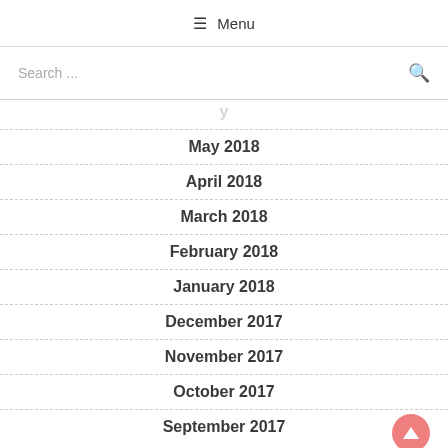☰ Menu
Search ...
May 2018
April 2018
March 2018
February 2018
January 2018
December 2017
November 2017
October 2017
September 2017